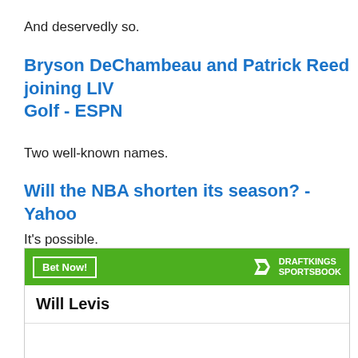And deservedly so.
Bryson DeChambeau and Patrick Reed joining LIV Golf - ESPN
Two well-known names.
Will the NBA shorten its season? - Yahoo
It's possible.
[Figure (other): DraftKings Sportsbook betting widget for Will Levis - To win Heisman Trophy +5000]
|  |  |
| --- | --- |
| To win Heisman Trophy | +5000 |